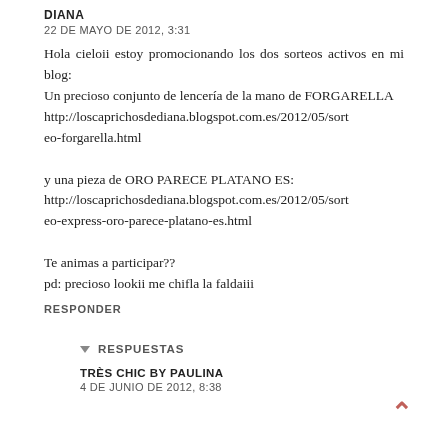DIANA
22 DE MAYO DE 2012, 3:31
Hola cieloii estoy promocionando los dos sorteos activos en mi blog:
Un precioso conjunto de lencería de la mano de FORGARELLA
http://loscaprichosdediana.blogspot.com.es/2012/05/sorteo-forgarella.html

y una pieza de ORO PARECE PLATANO ES:
http://loscaprichosdediana.blogspot.com.es/2012/05/sorteo-express-oro-parece-platano-es.html

Te animas a participar??
pd: precioso lookii me chifla la faldaiii
RESPONDER
RESPUESTAS
TRÈS CHIC BY PAULINA
4 DE JUNIO DE 2012, 8:38